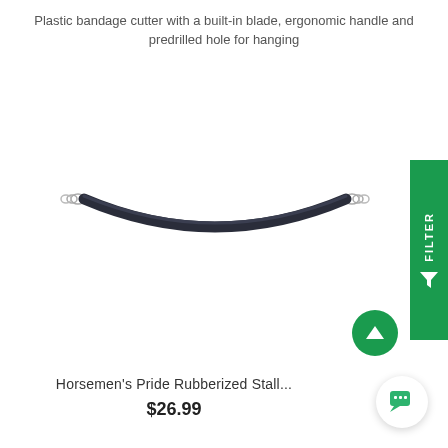Plastic bandage cutter with a built-in blade, ergonomic handle and predrilled hole for hanging
[Figure (photo): A rubberized stall guard / chain bar, dark navy/black color, curved shape with silver metal clips/snaps on each end, photographed on white background.]
Horsemen's Pride Rubberized Stall...
$26.99